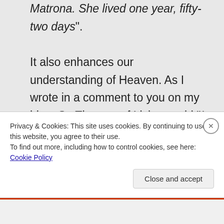Matrona. She lived one year, fifty-two days". It also enhances our understanding of Heaven. As I wrote in a comment to you on my blog, St. Therese of Lisieux said “I shall spend my heaven doing good on earth”. Earth is practice for Heaven 🙂
Privacy & Cookies: This site uses cookies. By continuing to use this website, you agree to their use. To find out more, including how to control cookies, see here: Cookie Policy
Close and accept